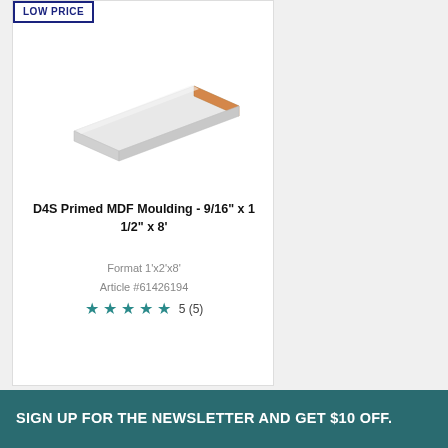[Figure (photo): Product photo of a white primed MDF moulding board, rectangular, with orange/wood-colored cut end visible, angled perspective view]
LOW PRICE
D4S Primed MDF Moulding - 9/16" x 1 1/2" x 8'
Format 1'x2'x8'
Article #61426194
★★★★★ 5 (5)
SIGN UP FOR THE NEWSLETTER AND GET $10 OFF.